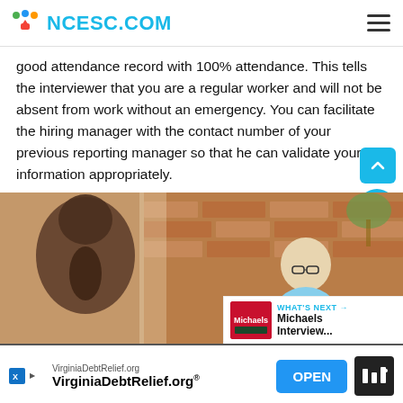NCESC.COM
good attendance record with 100% attendance. This tells the interviewer that you are a regular worker and will not be absent from work without an emergency. You can facilitate the hiring manager with the contact number of your previous reporting manager so that he can validate your information appropriately.
[Figure (photo): Two people in a job interview setting in front of a brick wall, one woman with dark hair viewed from behind, and a man with glasses in a light blue shirt writing notes.]
WHAT'S NEXT → Michaels Interview...
VirginiaDebtRelief.org VirginiaDebtRelief.org®